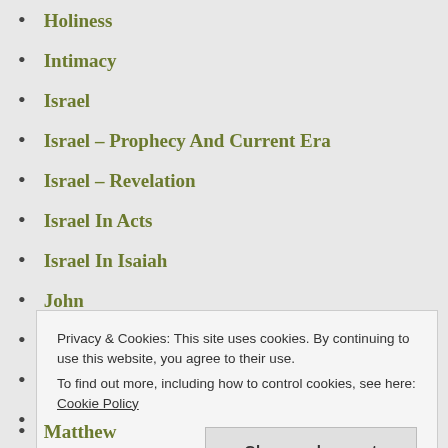Holiness
Intimacy
Israel
Israel – Prophecy And Current Era
Israel – Revelation
Israel In Acts
Israel In Isaiah
John
John's Gospel
Journey
Judgment
Privacy & Cookies: This site uses cookies. By continuing to use this website, you agree to their use. To find out more, including how to control cookies, see here: Cookie Policy
Matthew